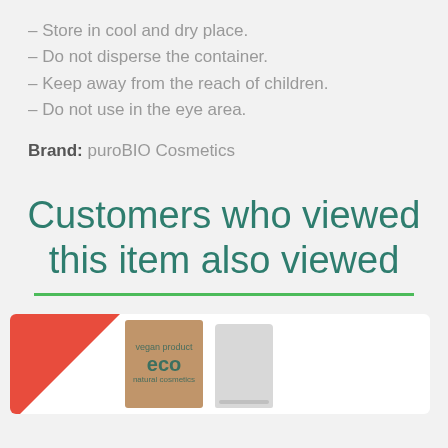– Store in cool and dry place.
– Do not disperse the container.
– Keep away from the reach of children.
– Do not use in the eye area.
Brand: puroBIO Cosmetics
Customers who viewed this item also viewed
[Figure (photo): Product card showing eco-branded packaging — a brown cardboard box labeled 'eco' and a white bag/pouch, with a red diagonal banner in the top-left corner.]